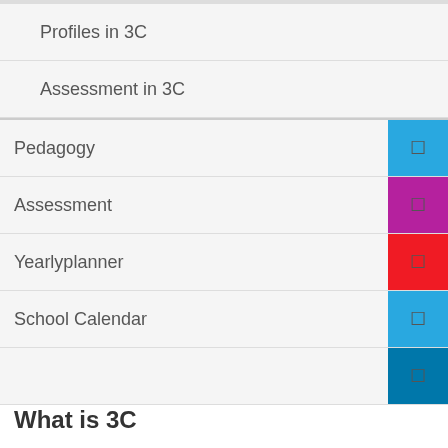Profiles in 3C
Assessment in 3C
Pedagogy
Assessment
Yearlyplanner
School Calendar
(additional item)
What is 3C